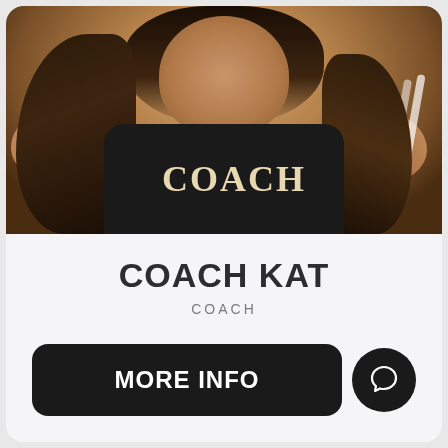[Figure (photo): Photo of Coach Kat wearing a black sleeveless top with 'COACH' written on it in light/cream letters, long dark wavy hair, against a white background.]
COACH KAT
COACH
MORE INFO